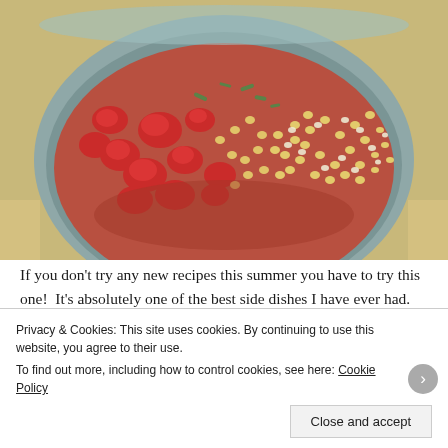[Figure (photo): A ceramic bowl filled with a fresh corn and tomato salsa/salad. The bowl contains bright red chopped tomatoes mixed with yellow and white corn kernels, and green scallions. The bowl sits on a yellowish surface.]
If you don't try any new recipes this summer you have to try this one!  It's absolutely one of the best side dishes I have ever had.  Promise.  It is amazing.  The whole truth and nothing but the truth.  It could be that I
Privacy & Cookies: This site uses cookies. By continuing to use this website, you agree to their use.
To find out more, including how to control cookies, see here: Cookie Policy
Close and accept